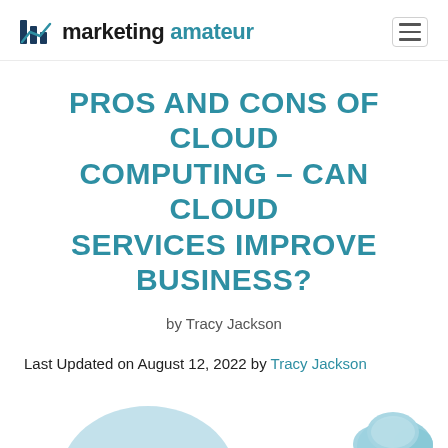marketing amateur
PROS AND CONS OF CLOUD COMPUTING – CAN CLOUD SERVICES IMPROVE BUSINESS?
by Tracy Jackson
Last Updated on August 12, 2022 by Tracy Jackson
[Figure (illustration): Partial view of a 'Pros and Cons of Cloud Computing' infographic with cloud imagery, showing the bottom of the title text and two cloud illustrations]